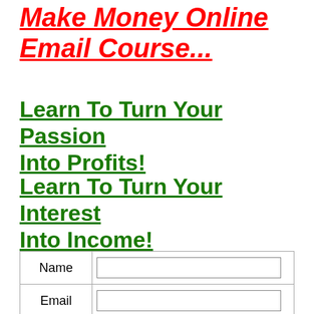Make Money Online Email Course...
Learn To Turn Your Passion Into Profits!
Learn To Turn Your Interest Into Income!
|  |  |
| --- | --- |
| Name |  |
| Email |  |
Submit